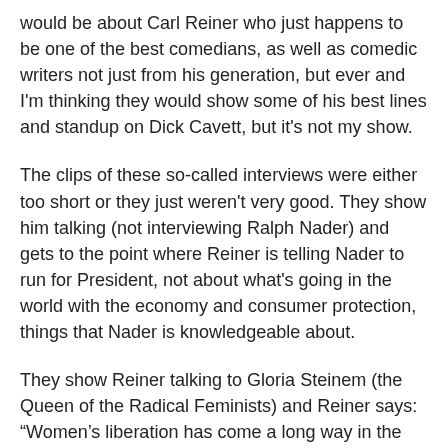would be about Carl Reiner who just happens to be one of the best comedians, as well as comedic writers not just from his generation, but ever and I'm thinking they would show some of his best lines and standup on Dick Cavett, but it's not my show.
The clips of these so-called interviews were either too short or they just weren't very good. They show him talking (not interviewing Ralph Nader) and gets to the point where Reiner is telling Nader to run for President, not about what's going in the world with the economy and consumer protection, things that Nader is knowledgeable about.
They show Reiner talking to Gloria Steinem (the Queen of the Radical Feminists) and Reiner says: “Women's liberation has come a long way in the last few years” as if he's the only one who knows that. I mean, this show was